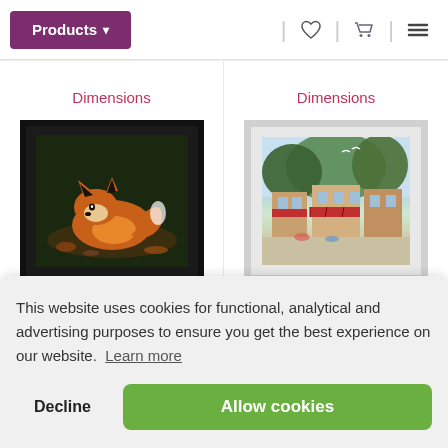Products ▾
Dimensions
[Figure (photo): Framed cross-stitch or embroidery artwork of a red fox resting on autumn leaves, in a black frame]
Dimensions
[Figure (photo): Framed artwork depicting a colorful town street scene with shops and cafes, in a white frame]
This website uses cookies for functional, analytical and advertising purposes to ensure you get the best experience on our website. Learn more
Decline
Allow cookies